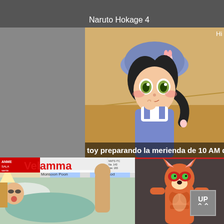Naruto Hokage 4
[Figure (illustration): Anime illustration of a young girl character wearing a blue beret hat with a bunny pin, blue overalls over a white shirt, with dark hair tied in a side ponytail. She has green eyes and is shown in a cute pose touching her chin. Subtitle text reads: 'toy preparando la merienda de 10 AM de tod']
[Figure (illustration): Velamma - Monsoon Poon Episode comic thumbnail showing adult comic art with characters]
[Figure (illustration): Animated fox character in red costume with muscular build, standing pose]